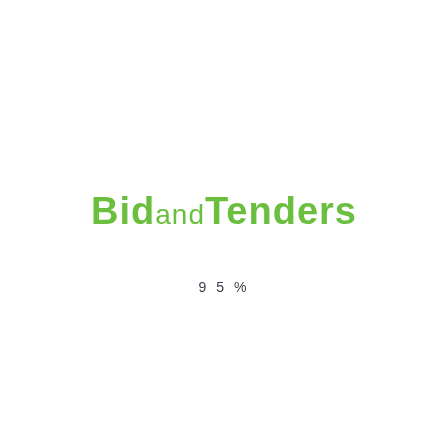[Figure (logo): BidandTenders logo in green bold text]
95%